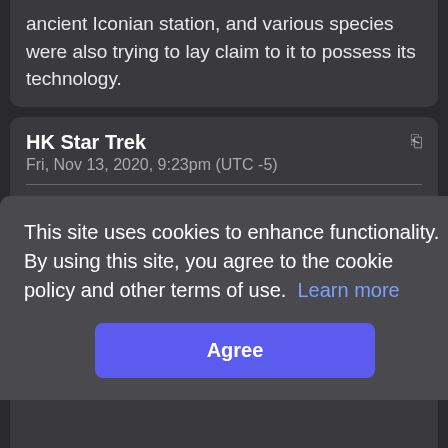ancient Iconian station, and various species were also trying to lay claim to it to possess its technology.
HK Star Trek
Fri, Nov 13, 2020, 9:23pm (UTC -5)
Enterprise so far has been below par. Although it is great to see that the Universal Translator is a work-in-progress & can't always be relied upon during this time period.
Circling back to this episode, I thought Dead Stop was pretty good. Not just imaginative & creative, but also
This site uses cookies to enhance functionality. By using this site, you agree to the cookie policy and other terms of use. Learn more
Agree